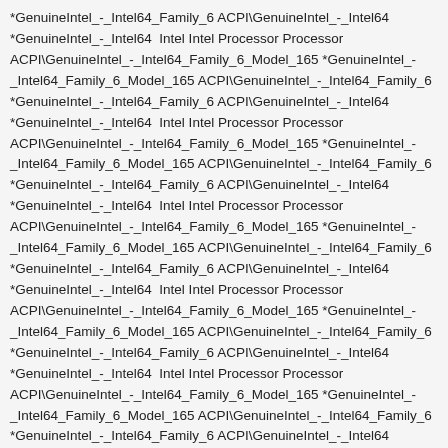*GenuineIntel_-_Intel64_Family_6 ACPI\GenuineIntel_-_Intel64 *GenuineIntel_-_Intel64  Intel Intel Processor Processor ACPI\GenuineIntel_-_Intel64_Family_6_Model_165 *GenuineIntel_-_Intel64_Family_6_Model_165 ACPI\GenuineIntel_-_Intel64_Family_6 *GenuineIntel_-_Intel64_Family_6 ACPI\GenuineIntel_-_Intel64 *GenuineIntel_-_Intel64  Intel Intel Processor Processor ACPI\GenuineIntel_-_Intel64_Family_6_Model_165 *GenuineIntel_-_Intel64_Family_6_Model_165 ACPI\GenuineIntel_-_Intel64_Family_6 *GenuineIntel_-_Intel64_Family_6 ACPI\GenuineIntel_-_Intel64 *GenuineIntel_-_Intel64  Intel Intel Processor Processor ACPI\GenuineIntel_-_Intel64_Family_6_Model_165 *GenuineIntel_-_Intel64_Family_6_Model_165 ACPI\GenuineIntel_-_Intel64_Family_6 *GenuineIntel_-_Intel64_Family_6 ACPI\GenuineIntel_-_Intel64 *GenuineIntel_-_Intel64  Intel Intel Processor Processor ACPI\GenuineIntel_-_Intel64_Family_6_Model_165 *GenuineIntel_-_Intel64_Family_6_Model_165 ACPI\GenuineIntel_-_Intel64_Family_6 *GenuineIntel_-_Intel64_Family_6 ACPI\GenuineIntel_-_Intel64 *GenuineIntel_-_Intel64  Intel Intel Processor Processor ACPI\GenuineIntel_-_Intel64_Family_6_Model_165 *GenuineIntel_-_Intel64_Family_6_Model_165 ACPI\GenuineIntel_-_Intel64_Family_6 *GenuineIntel_-_Intel64_Family_6 ACPI\GenuineIntel_-_Intel64 *GenuineIntel_-_Intel64  Intel Intel Processor Processor ACPI\GenuineIntel_-_Intel64_Family_6_Model_165 *GenuineIntel_-